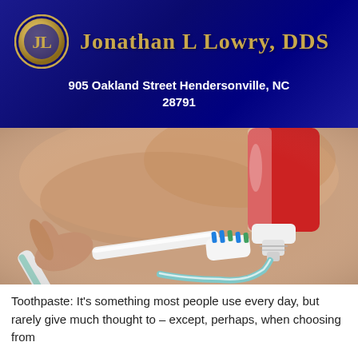[Figure (logo): Jonathan L Lowry DDS dental practice header banner with gold JL emblem logo on dark blue/navy background, with practice name in gold serif font and address in white]
905 Oakland Street Hendersonville, NC 28791
[Figure (photo): Close-up photo of a person's lower face out of focus in background, with a hand holding a white and teal toothbrush with toothpaste being applied from a red and white toothpaste tube]
Toothpaste: It's something most people use every day, but rarely give much thought to – except, perhaps, when choosing from